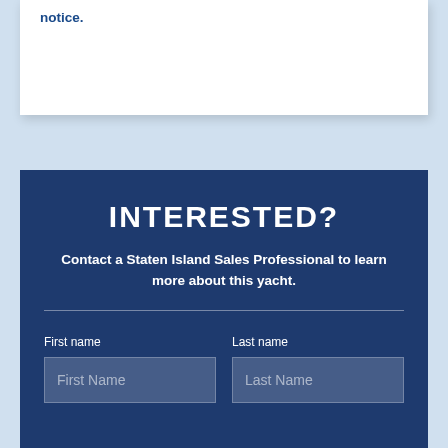notice.
INTERESTED?
Contact a Staten Island Sales Professional to learn more about this yacht.
First name
Last name
First Name
Last Name